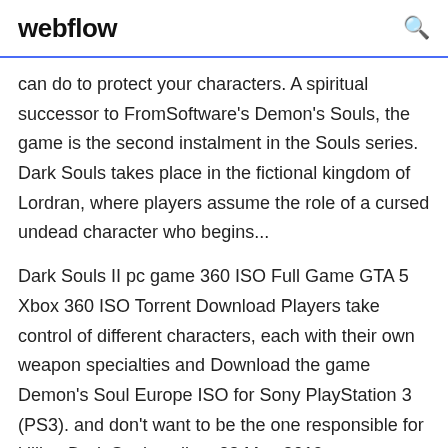webflow
can do to protect your characters. A spiritual successor to FromSoftware's Demon's Souls, the game is the second instalment in the Souls series. Dark Souls takes place in the fictional kingdom of Lordran, where players assume the role of a cursed undead character who begins...
Dark Souls II pc game 360 ISO Full Game GTA 5 Xbox 360 ISO Torrent Download Players take control of different characters, each with their own weapon specialties and Download the game Demon's Soul Europe ISO for Sony PlayStation 3 (PS3). and don't want to be the one responsible for killing Dark Souls online. 23 May 2019 FromSoftware's Dark Souls is